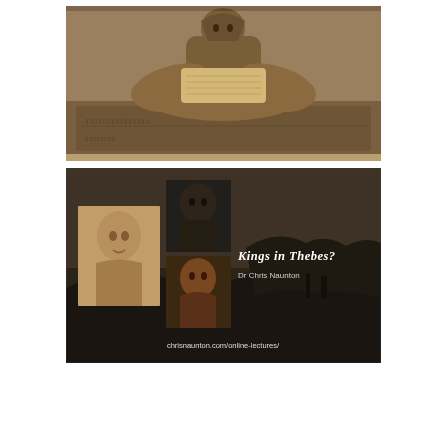[Figure (photo): Photograph of an ancient Egyptian seated scribe statue carved in dark stone, showing hieroglyphic inscriptions on the base, cross-legged seated position holding a papyrus scroll]
[Figure (photo): Promotional image for an online lecture titled 'Kings in Thebes?' by Dr Chris Naunton, featuring composite of Egyptian sculpture busts against a dark desert landscape background, with URL chrisnaunton.com/online-lectures/]